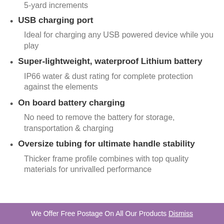USB charging port – Ideal for charging any USB powered device while you play
Super-lightweight, waterproof Lithium battery – IP66 water & dust rating for complete protection against the elements
On board battery charging – No need to remove the battery for storage, transportation & charging
Oversize tubing for ultimate handle stability – Thicker frame profile combines with top quality materials for unrivalled performance
We Offer Free Postage On All Our Products Dismiss